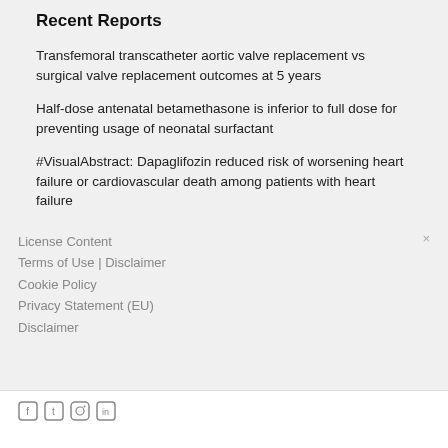Recent Reports
Transfemoral transcatheter aortic valve replacement vs surgical valve replacement outcomes at 5 years
Half-dose antenatal betamethasone is inferior to full dose for preventing usage of neonatal surfactant
#VisualAbstract: Dapaglifozin reduced risk of worsening heart failure or cardiovascular death among patients with heart failure
License Content
Terms of Use | Disclaimer
Cookie Policy
Privacy Statement (EU)
Disclaimer
[Figure (other): Social media icons: Facebook, Twitter, Instagram, LinkedIn]